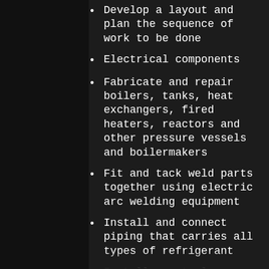Develop a layout and plan the sequence of work to be done
Electrical components
Fabricate and repair boilers, tanks, heat exchangers, fired heaters, reactors and other pressure vessels and boilermakers
Fit and tack weld parts together using electric arc welding equipment
Install and connect piping that carries all types of refrigerant
Installs control systems
Installs heating, ventilating and air conditioning systems
Lay out sheet steel or